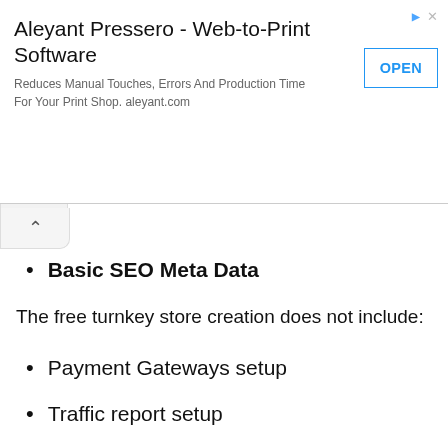[Figure (screenshot): Advertisement banner for Aleyant Pressero Web-to-Print Software with OPEN button]
Basic SEO Meta Data
The free turnkey store creation does not include:
Payment Gateways setup
Traffic report setup
Social Pages Creation
Social Media advertising setup
These tasks can be set up by the customer with the